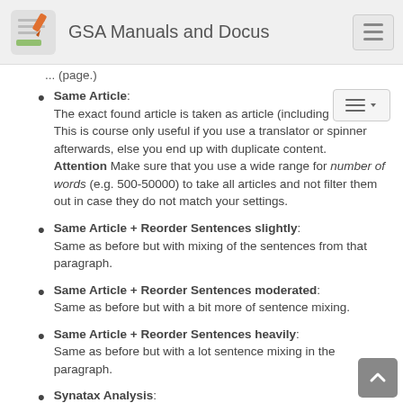GSA Manuals and Docus
Same Article: The exact found article is taken as article (including it's title). This is course only useful if you use a translator or spinner afterwards, else you end up with duplicate content. Attention Make sure that you use a wide range for number of words (e.g. 500-50000) to take all articles and not filter them out in case they do not match your settings.
Same Article + Reorder Sentences slightly: Same as before but with mixing of the sentences from that paragraph.
Same Article + Reorder Sentences moderated: Same as before but with a bit more of sentence mixing.
Same Article + Reorder Sentences heavily: Same as before but with a lot sentence mixing in the paragraph.
Synatax Analysis: This is very special algorithm that is not very